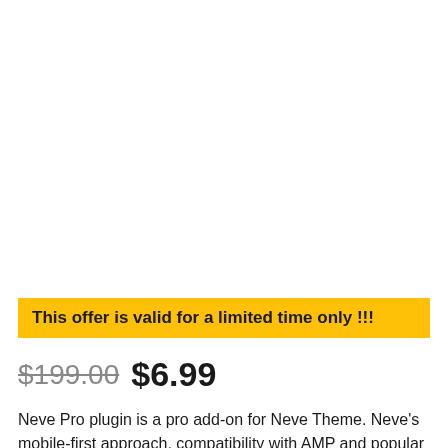This offer is valid for a limited time only !!!
$199.00  $6.99
Neve Pro plugin is a pro add-on for Neve Theme. Neve's mobile-first approach, compatibility with AMP and popular page builders makes site building possible for